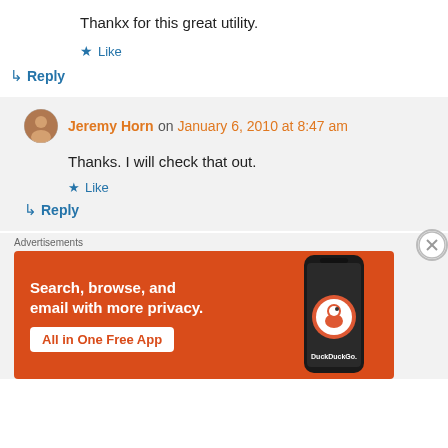Thankx for this great utility.
Like
Reply
Jeremy Horn on January 6, 2010 at 8:47 am
Thanks. I will check that out.
Like
Reply
Advertisements
[Figure (illustration): DuckDuckGo advertisement banner: orange background with text 'Search, browse, and email with more privacy. All in One Free App' and a phone image with DuckDuckGo logo]